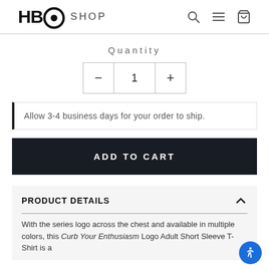HBO SHOP
Quantity
– 1 +
Allow 3-4 business days for your order to ship.
ADD TO CART
PRODUCT DETAILS
With the series logo across the chest and available in multiple colors, this Curb Your Enthusiasm Logo Adult Short Sleeve T-Shirt is a